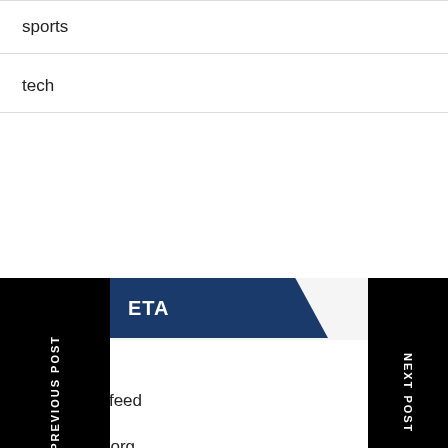sports
tech
[Figure (screenshot): Navigation overlay showing PREVIOUS POST black panel on left with vertical text, NEXT POST black panel on right with vertical text, and META section in center with blue banner showing 'ETA' text, plus list rows partially visible including 's feed' text]
Comments feed
WordPress.org